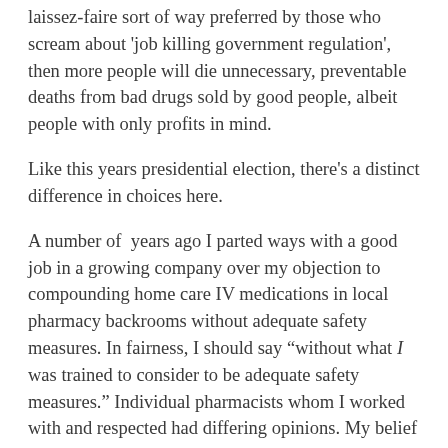laissez-faire sort of way preferred by those who scream about 'job killing government regulation', then more people will die unnecessary, preventable deaths from bad drugs sold by good people, albeit people with only profits in mind.
Like this years presidential election, there's a distinct difference in choices here.
A number of  years ago I parted ways with a good job in a growing company over my objection to compounding home care IV medications in local pharmacy backrooms without adequate safety measures. In fairness, I should say "without what I was trained to consider to be adequate safety measures." Individual pharmacists whom I worked with and respected had differing opinions. My belief that their opinions were clouded by dollar signs is beside the point.
At the time, I wasn't willing to risk my professional ethics and personal morality just to beat a competitor to a market